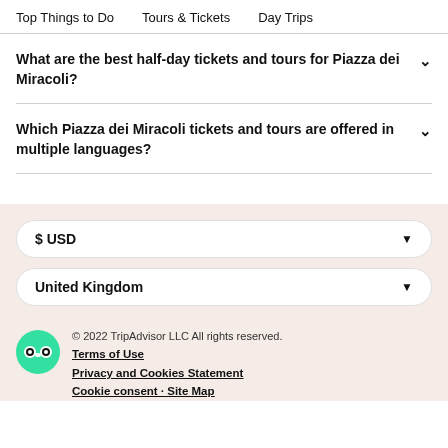Top Things to Do   Tours & Tickets   Day Trips
What are the best half-day tickets and tours for Piazza dei Miracoli?
Which Piazza dei Miracoli tickets and tours are offered in multiple languages?
$ USD
United Kingdom
© 2022 TripAdvisor LLC All rights reserved.
Terms of Use
Privacy and Cookies Statement
Cookie consent  Site Map